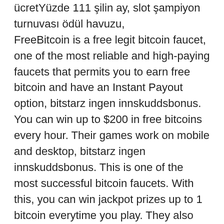turnuvasi ödül havuzu,
 FreeBitcoin is a free legit bitcoin faucet, one of the most reliable and high-paying faucets that permits you to earn free bitcoin and have an Instant Payout option, bitstarz ingen innskuddsbonus. You can win up to $200 in free bitcoins every hour. Their games work on mobile and desktop, bitstarz ingen innskuddsbonus. This is one of the most successful bitcoin faucets. With this, you can win jackpot prizes up to 1 bitcoin everytime you play. They also have a free weekly lottery where you can win big prizes, bitstarz giri gratuiti. However, Moon Bitcoin requires users to only use CoinPot on the platform as their cryptocurrency wallet, bitstarz live dealer. Unlike other faucets that allow withdrawals for a specific period, Moon Bitcoin allows users to claim their BTC rewards anytime. There are a lot of bitcoin faucet sites today, so it's a very competitive